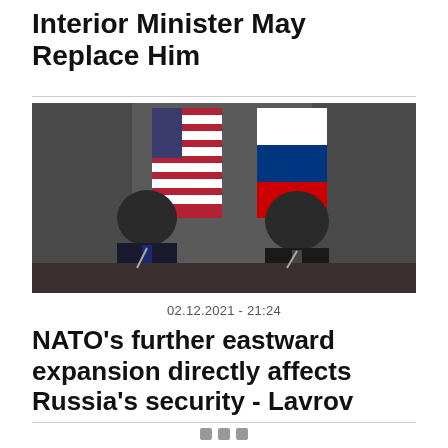Interior Minister May Replace Him
[Figure (photo): Two men in dark suits seated at a table with American and Russian flags in background — likely Blinken and Lavrov at a diplomatic meeting]
02.12.2021 - 21:24
NATO's further eastward expansion directly affects Russia's security - Lavrov